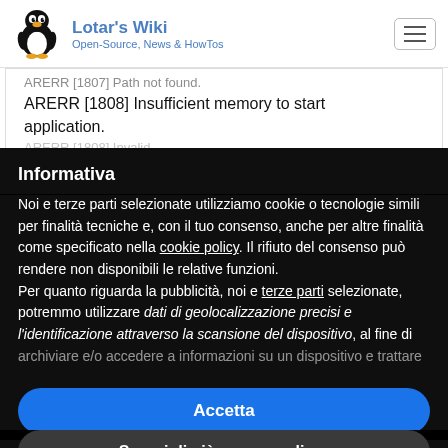Lotar's Wiki — Open-Source, News & HowTos
ARERR [1807] Path not found. ARERR [1808] Insufficient memory to start application. ARERR [1808] Invalid...
Informativa
Noi e terze parti selezionate utilizziamo cookie o tecnologie simili per finalità tecniche e, con il tuo consenso, anche per altre finalità come specificato nella cookie policy. Il rifiuto del consenso può rendere non disponibili le relative funzioni.
Per quanto riguarda la pubblicità, noi e terze parti selezionate, potremmo utilizzare dati di geolocalizzazione precisi e l'identificazione attraverso la scansione del dispositivo, al fine di archiviare e/o accedere a informazioni su un dispositivo e trattare
Accetta
Scopri di più e personalizza